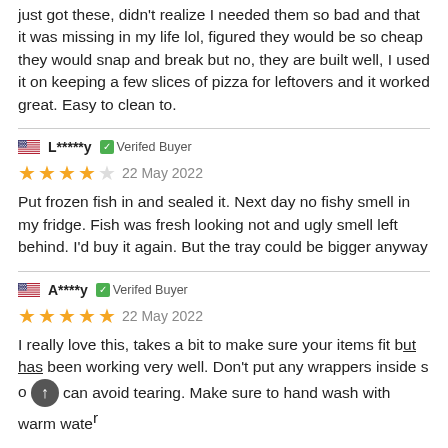just got these, didn't realize I needed them so bad and that it was missing in my life lol, figured they would be so cheap they would snap and break but no, they are built well, I used it on keeping a few slices of pizza for leftovers and it worked great. Easy to clean to.
L*****y  Verifed Buyer
22 May 2022
Put frozen fish in and sealed it. Next day no fishy smell in my fridge. Fish was fresh looking not and ugly smell left behind. I'd buy it again. But the tray could be bigger anyway
A****y  Verifed Buyer
22 May 2022
I really love this, takes a bit to make sure your items fit but has been working very well. Don't put any wrappers inside so can avoid tearing. Make sure to hand wash with warm water